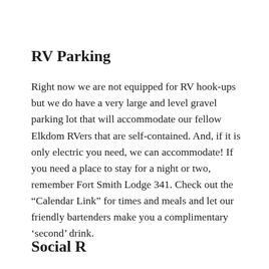RV Parking
Right now we are not equipped for RV hook-ups but we do have a very large and level gravel parking lot that will accommodate our fellow Elkdom RVers that are self-contained. And, if it is only electric you need, we can accommodate!  If you need a place to stay for a night or two, remember Fort Smith Lodge 341. Check out the “Calendar Link” for times and meals and let our friendly bartenders make you a complimentary ‘second’ drink.
Social R...